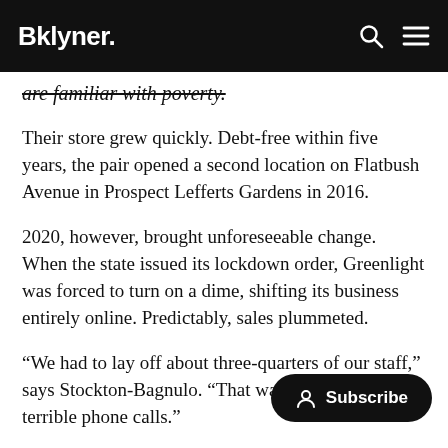Bklyner.
are familiar with poverty.
Their store grew quickly. Debt-free within five years, the pair opened a second location on Flatbush Avenue in Prospect Lefferts Gardens in 2016.
2020, however, brought unforeseeable change. When the state issued its lockdown order, Greenlight was forced to turn on a dime, shifting its business entirely online. Predictably, sales plummeted.
“We had to lay off about three-quarters of our staff,” says Stockton-Bagnulo. “That was a day of really terrible phone calls.”
Greenlight’s pandemic story is one of many told by of the American Booksellers Association’s member